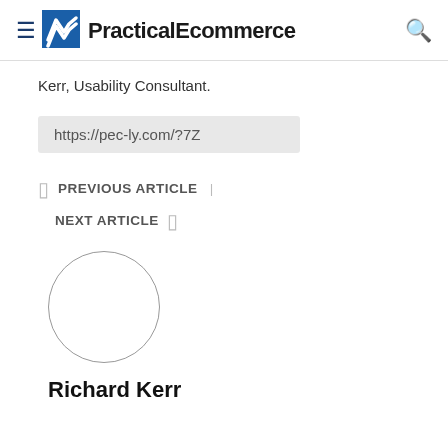PracticalEcommerce
Kerr, Usability Consultant.
https://pec-ly.com/?7Z
PREVIOUS ARTICLE
NEXT ARTICLE
[Figure (illustration): Circular avatar placeholder for author Richard Kerr]
Richard Kerr